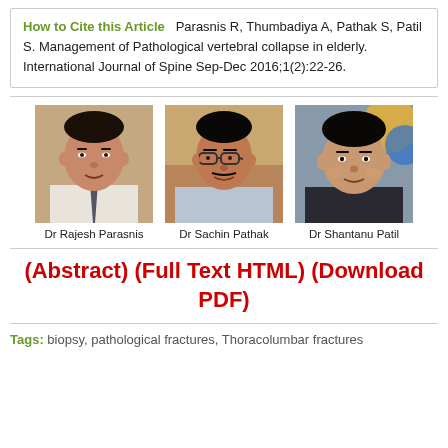How to Cite this Article Parasnis R, Thumbadiya A, Pathak S, Patil S. Management of Pathological vertebral collapse in elderly. International Journal of Spine Sep-Dec 2016;1(2):22-26.
[Figure (photo): Three author photos side by side: Dr Rajesh Parasnis (left), Dr Sachin Pathak (center), Dr Shantanu Patil (right)]
(Abstract) (Full Text HTML) (Download PDF)
Tags: biopsy, pathological fractures, Thoracolumbar fractures